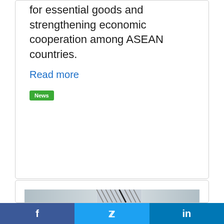for essential goods and strengthening economic cooperation among ASEAN countries.
Read more
News
[Figure (other): Banner image with diagonal stripe pattern in grey and black tones, spanning the width of the second card]
Facebook  Twitter  LinkedIn social sharing bar